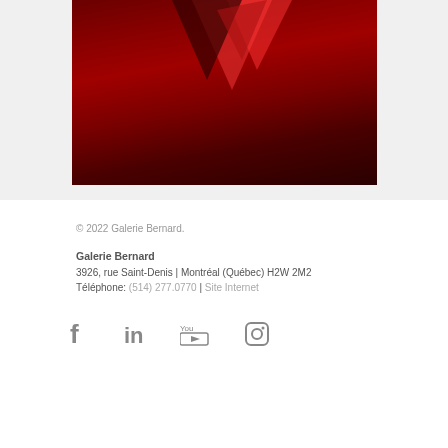[Figure (photo): Partial view of a dark red artwork with geometric triangle shapes on a dark background]
© 2022 Galerie Bernard.
Galerie Bernard
3926, rue Saint-Denis | Montréal (Québec) H2W 2M2
Téléphone: (514) 277.0770 | Site Internet
[Figure (illustration): Social media icons: Facebook, LinkedIn, YouTube, Instagram]